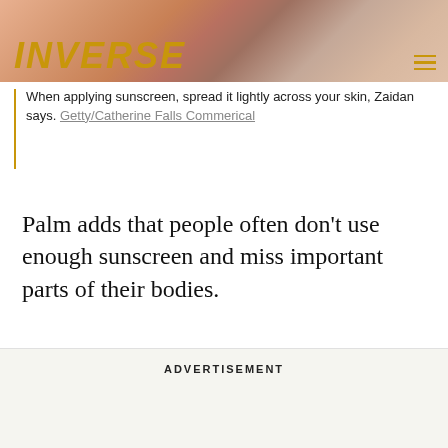[Figure (photo): Partial view of a person in a striped swimsuit at the beach, with INVERSE logo overlay and hamburger menu icon]
When applying sunscreen, spread it lightly across your skin, Zaidan says. Getty/Catherine Falls Commerical
Palm adds that people often don't use enough sunscreen and miss important parts of their bodies.
ADVERTISEMENT